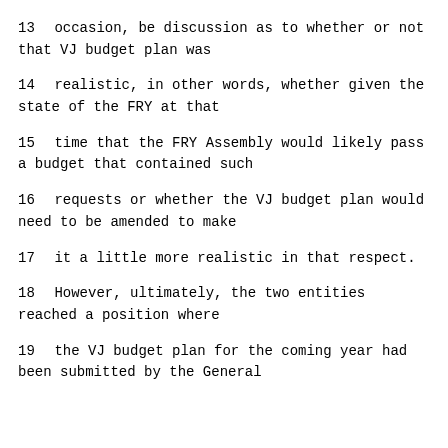13     occasion, be discussion as to whether or not that VJ budget plan was
14     realistic, in other words, whether given the state of the FRY at that
15     time that the FRY Assembly would likely pass a budget that contained such
16     requests or whether the VJ budget plan would need to be amended to make
17     it a little more realistic in that respect.
18          However, ultimately, the two entities reached a position where
19     the VJ budget plan for the coming year had been submitted by the General